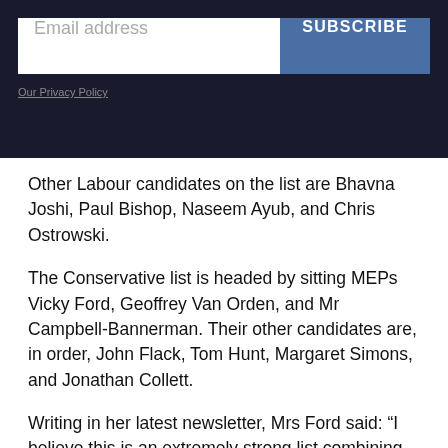[Figure (screenshot): Dark banner with email address input field and blue SUBSCRIBE button, with Our Privacy Policy link below]
Other Labour candidates on the list are Bhavna Joshi, Paul Bishop, Naseem Ayub, and Chris Ostrowski.
The Conservative list is headed by sitting MEPs Vicky Ford, Geoffrey Van Orden, and Mr Campbell-Bannerman. Their other candidates are, in order, John Flack, Tom Hunt, Margaret Simons, and Jonathan Collett.
Writing in her latest newsletter, Mrs Ford said: “I believe this is an extremely strong list combining experienced campaigners with diversity.